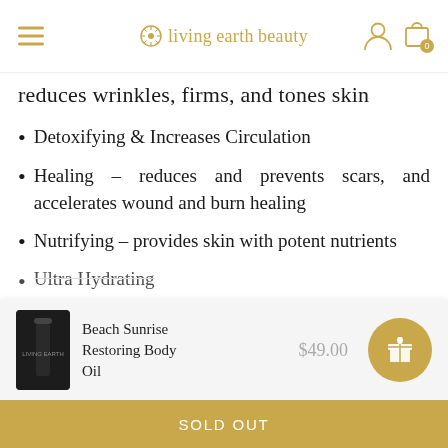livingearthbeauty
reduces wrinkles, firms, and tones skin
Detoxifying & Increases Circulation
Healing – reduces and prevents scars, and accelerates wound and burn healing
Nutrifying – provides skin with potent nutrients
Ultra Hydrating
Beach Sunrise Restoring Body Oil  $49.00
SOLD OUT